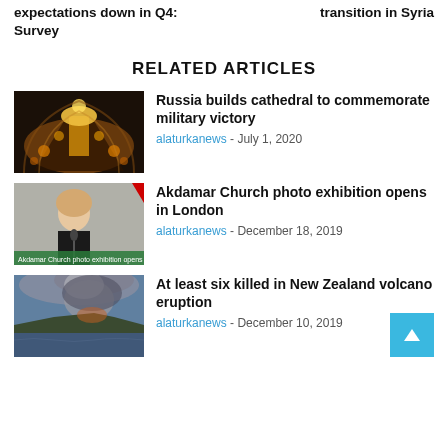expectations down in Q4: Survey
transition in Syria
RELATED ARTICLES
[Figure (photo): Cathedral interior with golden lights and ornate decorations]
Russia builds cathedral to commemorate military victory
alaturkanews - July 1, 2020
[Figure (photo): Woman speaking at a podium with a microphone, Akdamar Church photo exhibition banner visible]
Akdamar Church photo exhibition opens in London
alaturkanews - December 18, 2019
[Figure (photo): Volcanic eruption with smoke and ash cloud over water in New Zealand]
At least six killed in New Zealand volcano eruption
alaturkanews - December 10, 2019